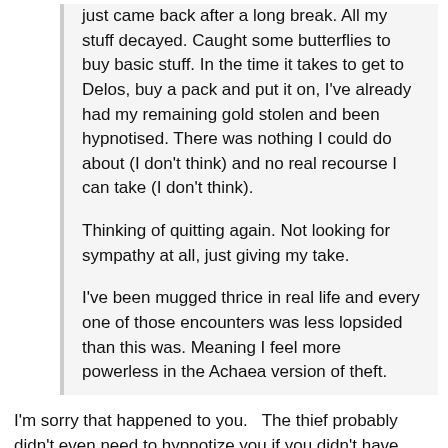just came back after a long break. All my stuff decayed. Caught some butterflies to buy basic stuff. In the time it takes to get to Delos, buy a pack and put it on, I've already had my remaining gold stolen and been hypnotised. There was nothing I could do about (I don't think) and no real recourse I can take (I don't think).
Thinking of quitting again. Not looking for sympathy at all, just giving my take.
I've been mugged thrice in real life and every one of those encounters was less lopsided than this was. Meaning I feel more powerless in the Achaea version of theft.
I'm sorry that happened to you.   The thief probably didn't even need to hypnotize you if you didn't have selfishness up and your gold was just in your hands.  This is probably one of the worst things about theft.  People like you are the most profitable people to target but the worst people to target.
To be fair, the thief likely didn't know that you had just